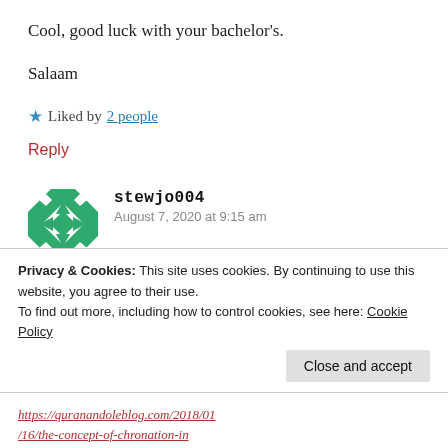Cool, good luck with your bachelor’s.
Salaam
★ Liked by 2 people
Reply
[Figure (illustration): Green and white geometric pattern avatar for user stewjo004]
stewjo004
August 7, 2020 at 9:15 am
@ Amirul Afiq
This “forever” argument is some excuse
Privacy & Cookies: This site uses cookies. By continuing to use this website, you agree to their use.
To find out more, including how to control cookies, see here: Cookie Policy
Close and accept
https://quranandoleblog.com/2018/01/16/the-concept-of-chronation-in